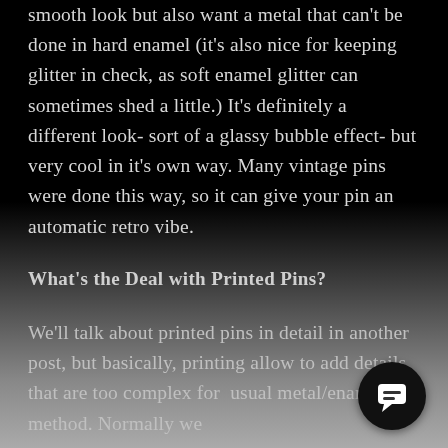smooth look but also want a metal that can't be done in hard enamel (it's also nice for keeping glitter in check, as soft enamel glitter can sometimes shed a little.) It's definitely a different look- sort of a glassy bubble effect- but very cool in it's own way. Many vintage pins were done this way, so it can give your pin an automatic retro vibe.
What's the Deal with Printed Pins?
We'll talk about printed pins in detail in another post, but basically, printing allows to add details that are too complex for usual metal/enamel method. Normally we